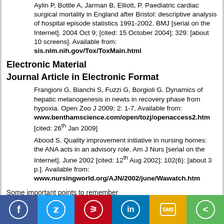Aylin P, Bottle A, Jarman B, Elliott, P. Paediatric cardiac surgical mortality in England after Bristol: descriptive analysis of hospital episode statistics 1991-2002. BMJ [serial on the Internet]. 2004 Oct 9; [cited: 15 October 2004]; 329: [about 10 screens]. Available from: sis.nlm.nih.gov/Tox/ToxMain.html
Electronic Material
Journal Article in Electronic Format
Frangioni G, Bianchi S, Fuzzi G, Borgioli G. Dynamics of hepatic melanogenesis in newts in recovery phase from hypoxia. Open Zoo J 2009; 2: 1-7. Available from: www.benthamscience.com/open/tozj/openaccess2.htm [cited: 26th Jan 2009]
Abood S. Quality improvement initiative in nursing homes: the ANA acts in an advisory role. Am J Nurs [serial on the Internet]. June 2002 [cited: 12th Aug 2002]; 102(6): [about 3 p.]. Available from: www.nursingworld.org/AJN/2002/june/Wawatch.htm
Some important points to remember